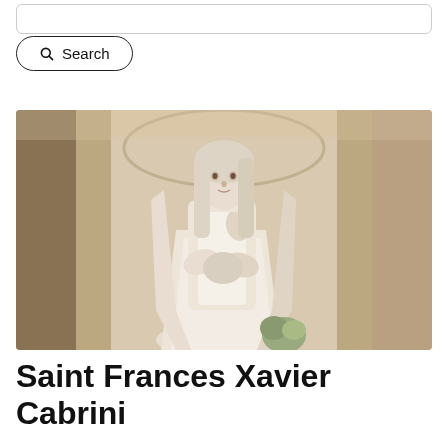[Figure (other): Search bar input field at the top of the page]
[Figure (other): Search button with magnifying glass icon and the word Search]
[Figure (photo): Photograph of a white marble or stone statue of Saint Frances Xavier Cabrini, depicted as a nun in religious habit, holding what appears to be a sacred heart, set within an architectural niche with columns in the background]
Saint Frances Xavier Cabrini